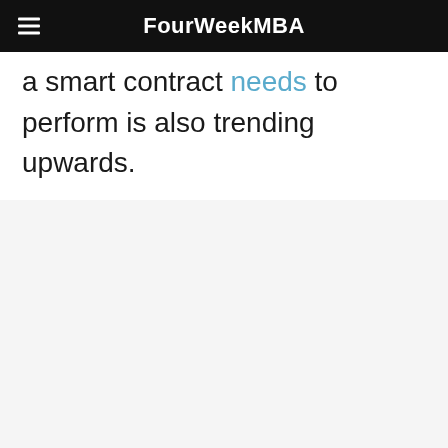FourWeekMBA
a smart contract needs to perform is also trending upwards.